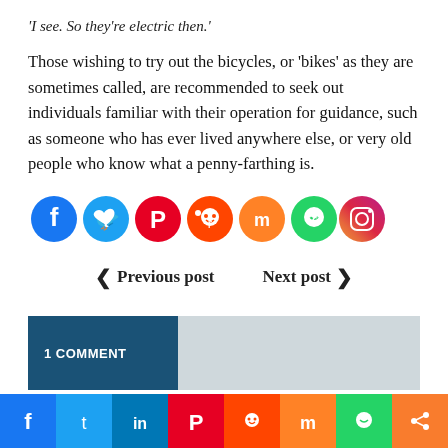'I see. So they're electric then.'
Those wishing to try out the bicycles, or 'bikes' as they are sometimes called, are recommended to seek out individuals familiar with their operation for guidance, such as someone who has ever lived anywhere else, or very old people who know what a penny-farthing is.
[Figure (infographic): Row of 8 social media sharing icon circles: Facebook (dark blue), Twitter (light blue), Pinterest (red), Reddit (orange-red), Mix (orange), WhatsApp (green), Instagram (purple-pink gradient), Share (orange)]
Previous post   Next post
1 COMMENT
[Figure (infographic): Bottom navigation bar with 8 social media icons: Facebook (dark blue), Twitter (light blue), LinkedIn (blue), Pinterest (red), Reddit (orange-red), Mix (orange), WhatsApp (green), Share (orange)]